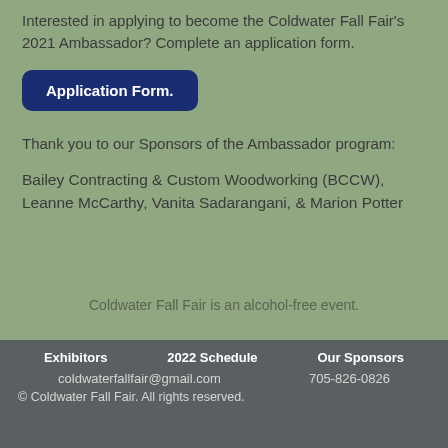Interested in applying to become the Coldwater Fall Fair's 2021 Ambassador? Complete an application form.
[Figure (other): Dark blue rounded button labeled 'Application Form.']
Thank you to our Sponsors of the Ambassador program:
Bailey Contracting & Custom Woodworking (BCCW), Leanne McCarthy, Vanita Sadarangani, & Marion Potter
Coldwater Fall Fair is an alcohol-free event.
Exhibitors   2022 Schedule   Our Sponsors
coldwaterfallfair@gmail.com   705-826-0826
© Coldwater Fall Fair. All rights reserved.